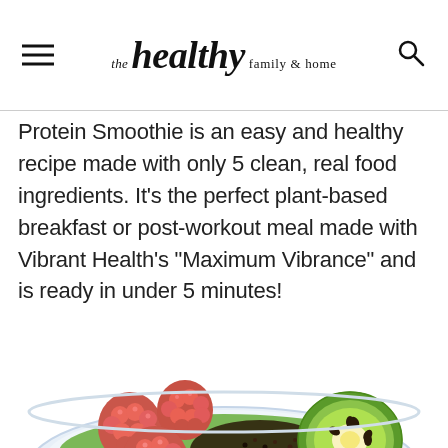the healthy family & home
Protein Smoothie is an easy and healthy recipe made with only 5 clean, real food ingredients. It's the perfect plant-based breakfast or post-workout meal made with Vibrant Health's "Maximum Vibrance" and is ready in under 5 minutes!
[Figure (photo): A smoothie bowl in a clear glass dish topped with fresh raspberries, chia seeds, and a sliced kiwi, viewed from a slightly elevated angle on a white background.]